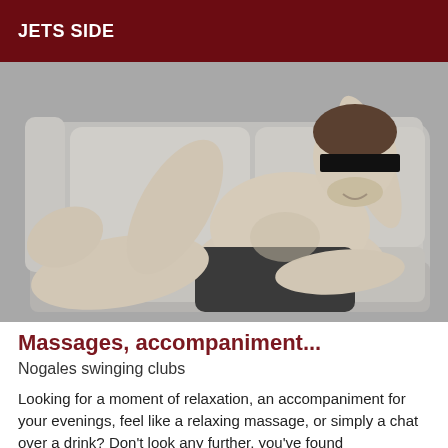JETS SIDE
[Figure (photo): Black and white photo of a man reclining on a sofa, shirtless wearing dark shorts, with a black bar obscuring his eyes.]
Massages, accompaniment...
Nogales swinging clubs
Looking for a moment of relaxation, an accompaniment for your evenings, feel like a relaxing massage, or simply a chat over a drink? Don't look any further, you've found